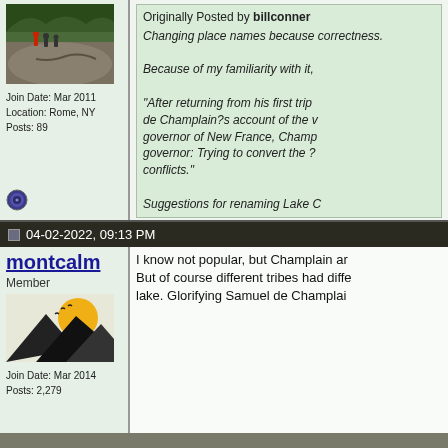[Figure (photo): Landscape photo showing people standing on large flat rocks with trees in background]
Join Date: Mar 2011
Location: Rome, NY
Posts: 89
Originally Posted by billconner
Changing place names because correctness.

Because of my familiarity with it,

"After returning from his first trip de Champlain?s account of the v governor of New France, Champ governor: Trying to convert the ? conflicts."

Suggestions for renaming Lake C
It’s a flat out racial slur, how can anyo
04-02-2022, 09:13 PM
montcalm
Member
[Figure (illustration): Forum avatar showing sun over mountain silhouettes with birds]
Join Date: Mar 2014
Posts: 2,279
I know not popular, but Champlain ar But of course different tribes had diffe lake. Glorifying Samuel de Champlai